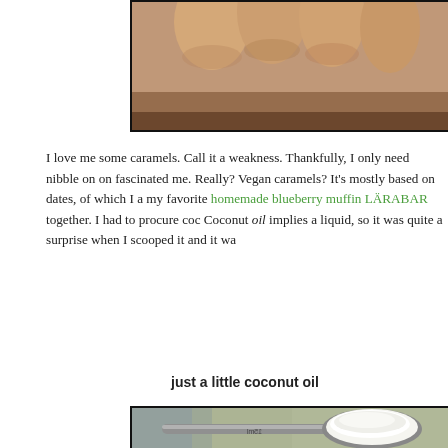[Figure (photo): Close-up photo of fingers/hand, partial view at top of page, cut off]
I love me some caramels. Call it a weakness. Thankfully, I only need nibble on on fascinated me. Really? Vegan caramels? It's mostly based on dates, of which I a my favorite homemade blueberry muffin LÄRABAR together. I had to procure coc Coconut oil implies a liquid, so it was quite a surprise when I scooped it and it wa
just a little coconut oil
[Figure (photo): Close-up photo of a measuring spoon (15ml / 1 tablespoon) scooping solid white coconut oil, with blurred colorful background]